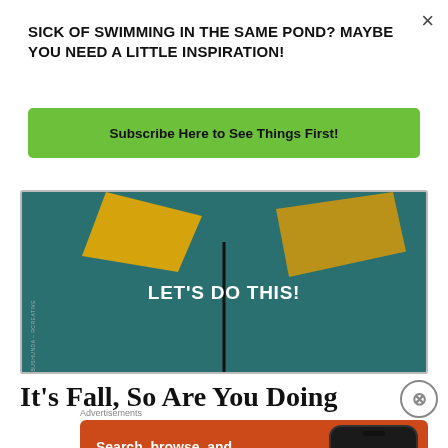×
SICK OF SWIMMING IN THE SAME POND? MAYBE YOU NEED A LITTLE INSPIRATION!
Subscribe Here to See Things First!
[Figure (photo): Hero image with yellow leaves and stem on teal background with text LET'S DO THIS!]
It's Fall, So Are You Doing
Advertisements
[Figure (screenshot): DuckDuckGo advertisement: Search, browse, and email with more privacy. All in One Free App.]